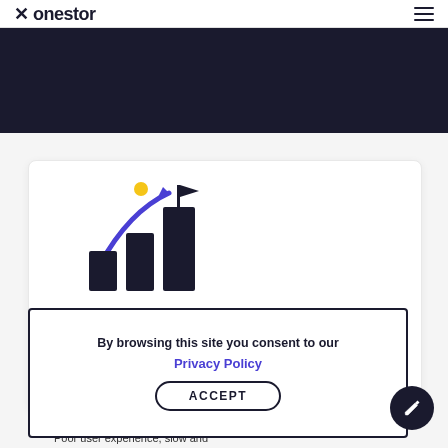Xonestor
[Figure (illustration): Dark hero banner background at top of page]
[Figure (illustration): Bar chart growth illustration with a blue upward arrow, dark bars, a flag on top, and a yellow circle in the upper left]
By browsing this site you consent to our
Privacy Policy
ACCEPT
Poor user experience, slow and